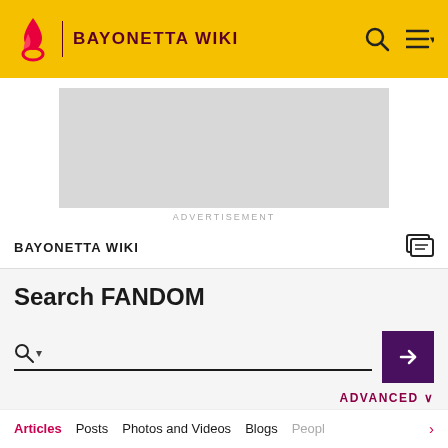BAYONETTA WIKI
[Figure (other): Gray advertisement placeholder rectangle]
ADVERTISEMENT
BAYONETTA WIKI
Search FANDOM
ADVANCED
Articles  Posts  Photos and Videos  Blogs  Peopl